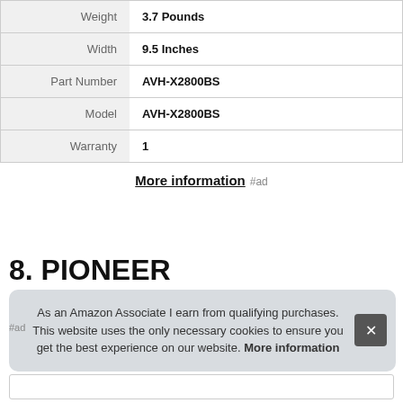| Attribute | Value |
| --- | --- |
| Weight | 3.7 Pounds |
| Width | 9.5 Inches |
| Part Number | AVH-X2800BS |
| Model | AVH-X2800BS |
| Warranty | 1 |
More information #ad
8. PIONEER
As an Amazon Associate I earn from qualifying purchases. This website uses the only necessary cookies to ensure you get the best experience on our website. More information